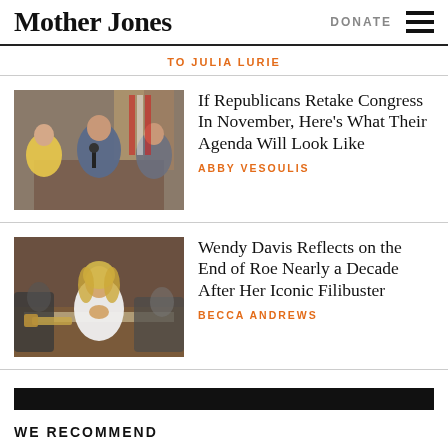Mother Jones | DONATE
TO JULIA LURIE
[Figure (photo): Politicians at a press conference, US flags in background]
If Republicans Retake Congress In November, Here's What Their Agenda Will Look Like
ABBY VESOULIS
[Figure (photo): Wendy Davis at a legislative session, blonde woman in white jacket]
Wendy Davis Reflects on the End of Roe Nearly a Decade After Her Iconic Filibuster
BECCA ANDREWS
WE RECOMMEND